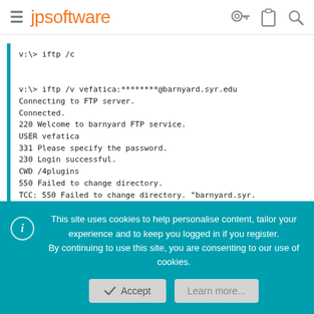jpsoftware
v:\> iftp /c

v:\> iftp /v vefatica:********@barnyard.syr.edu
Connecting to FTP server.
Connected.
220 Welcome to barnyard FTP service.
USER vefatica
331 Please specify the password.
230 Login successful.
CWD /4plugins
550 Failed to change directory.
TCC: 550 Failed to change directory. "barnyard.syr.
This site uses cookies to help personalise content, tailor your experience and to keep you logged in if you register.
By continuing to use this site, you are consenting to our use of cookies.
Accept
Learn more...